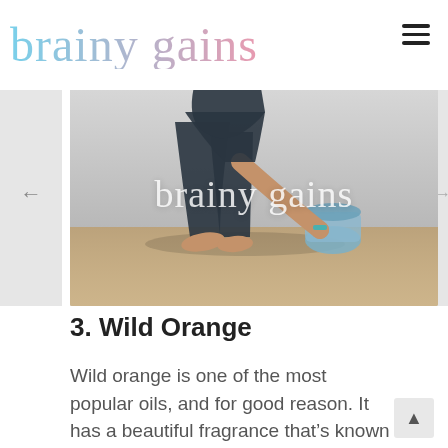brainy gains
[Figure (photo): Person in dark athletic wear crouching down to roll up a blue yoga mat on a wooden floor. The person is barefoot and wearing a teal bracelet. The image has the 'brainy gains' watermark in white script text overlaid on the lower center of the image.]
3. Wild Orange
Wild orange is one of the most popular oils, and for good reason. It has a beautiful fragrance that’s known to increase energy and uplift the mood.